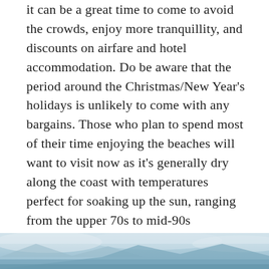it can be a great time to come to avoid the crowds, enjoy more tranquillity, and discounts on airfare and hotel accommodation. Do be aware that the period around the Christmas/New Year's holidays is unlikely to come with any bargains. Those who plan to spend most of their time enjoying the beaches will want to visit now as it's generally dry along the coast with temperatures perfect for soaking up the sun, ranging from the upper 70s to mid-90s Fahrenheit, 25 to 35 Celsius. In the mountains, it will be cooler and wet, with afternoon temperatures in the mid-60s Fahrenheit/around 18 to 19 Celsius, while trails may be unpassable due to heavy rainfall. Also as noted, in February the Inca Trail will be closed.
[Figure (photo): Partial view of a landscape photo at the bottom of the page, showing what appears to be a snowy or misty mountain/coastal scene in muted blue-grey tones.]